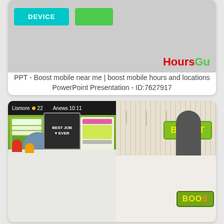[Figure (screenshot): Top card showing a gray background with a cyan 'DEVICE' button, a green button, and a partial 'HoursGu' logo in red and green text]
PPT - Boost mobile near me | boost mobile hours and locations PowerPoint Presentation - ID:7627917
[Figure (photo): Two side-by-side photos of Boost Juice store interiors: left shows a counter with menu boards and a staff member, right shows the Boost logo sign and another counter area with 'Best Job Ever' chalkboard sign]